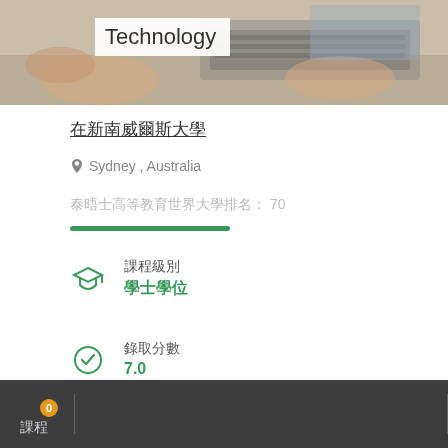[Figure (photo): Photo of person typing on laptop keyboard, with 'Technology' label overlay on a white background strip]
在新南威爾斯大學
📍 Sydney, Australia
泰晤士高等教育世界大學排名： 70
課程級別
學士學位
錄取分數
7.0
總學費
TWD 2,664,001
課程 0